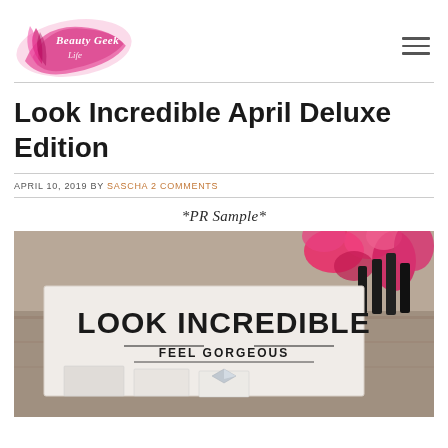Beauty Geek Like (logo)
Look Incredible April Deluxe Edition
APRIL 10, 2019 BY SASCHA 2 COMMENTS
*PR Sample*
[Figure (photo): Close-up photograph of a white Look Incredible box with bold black text reading 'LOOK INCREDIBLE' and below 'FEEL GORGEOUS', with pink flowers and black cosmetic items visible in the background.]